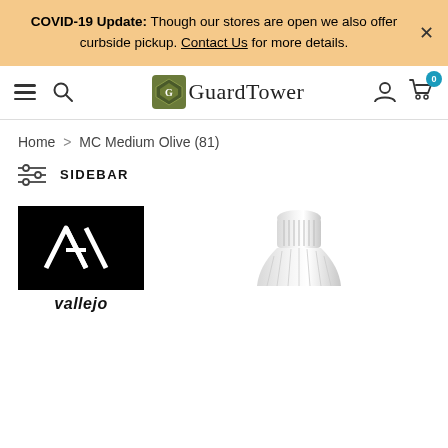COVID-19 Update: Though our stores are open we also offer curbside pickup. Contact Us for more details.
[Figure (logo): GuardTower game store logo with navigation bar including hamburger menu, search, user icon, and cart with 0 badge]
Home > MC Medium Olive (81)
SIDEBAR
[Figure (logo): Vallejo brand logo: black square with white AV monogram and 'vallejo' text below]
[Figure (photo): Partial view of a white/light grey paint bottle with ribbed cap]